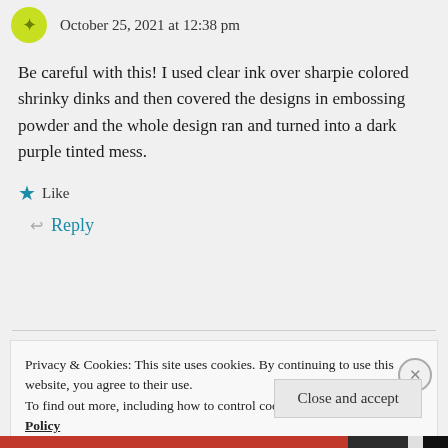October 25, 2021 at 12:38 pm
Be careful with this! I used clear ink over sharpie colored shrinky dinks and then covered the designs in embossing powder and the whole design ran and turned into a dark purple tinted mess.
★ Like
Reply
Privacy & Cookies: This site uses cookies. By continuing to use this website, you agree to their use.
To find out more, including how to control cookies, see here: Cookie Policy
Close and accept